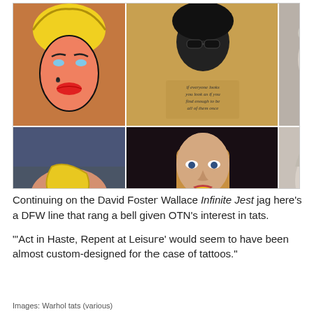[Figure (photo): A collage of 6 tattoo photos showing Warhol-themed tattoos: top row has a colorful Marilyn Monroe pop-art tattoo, a black Andy Warhol silhouette tattoo with script text, and a detailed Andy Warhol portrait tattoo; bottom row has a banana foot tattoo, a young woman showing a Marilyn Monroe tattoo, and a detailed Andy Warhol face tattoo.]
Continuing on the David Foster Wallace Infinite Jest jag here's a DFW line that rang a bell given OTN's interest in tats.
"'Act in Haste, Repent at Leisure' would seem to have been almost custom-designed for the case of tattoos."
Images: Warhol tats (various)